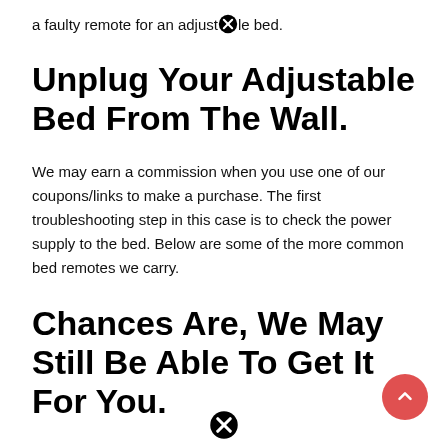a faulty remote for an adjustable bed.
Unplug Your Adjustable Bed From The Wall.
We may earn a commission when you use one of our coupons/links to make a purchase. The first troubleshooting step in this case is to check the power supply to the bed. Below are some of the more common bed remotes we carry.
Chances Are, We May Still Be Able To Get It For You.